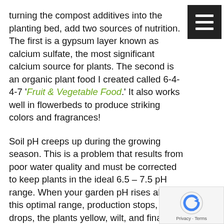turning the compost additives into the planting bed, add two sources of nutrition. The first is a gypsum layer known as calcium sulfate, the most significant calcium source for plants. The second is an organic plant food I created called 6-4-4-7 'Fruit & Vegetable Food.' It also works well in flowerbeds to produce striking colors and fragrances!
Soil pH creeps up during the growing season. This is a problem that results from poor water quality and must be corrected to keep plants in the ideal 6.5 – 7.5 pH range. When your garden pH rises above this optimal range, production stops, fruit drops, the plants yellow, wilt, and finally drop